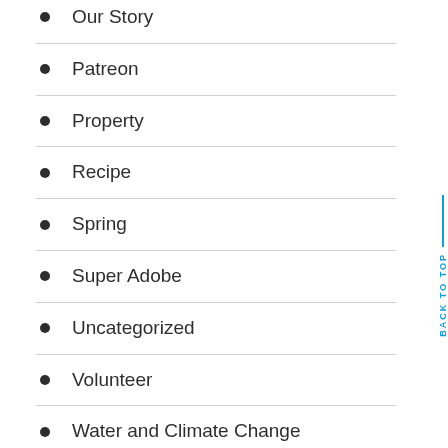Our Story
Patreon
Property
Recipe
Spring
Super Adobe
Uncategorized
Volunteer
Water and Climate Change